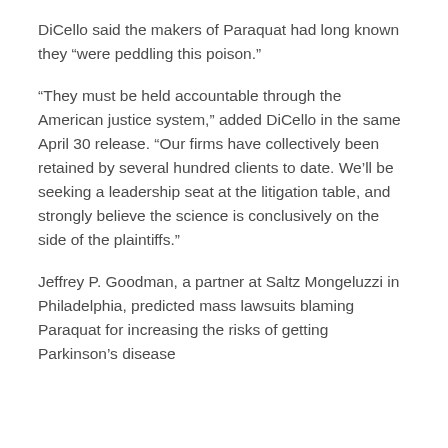DiCello said the makers of Paraquat had long known they “were peddling this poison.”
“They must be held accountable through the American justice system,” added DiCello in the same April 30 release. “Our firms have collectively been retained by several hundred clients to date. We’ll be seeking a leadership seat at the litigation table, and strongly believe the science is conclusively on the side of the plaintiffs.”
Jeffrey P. Goodman, a partner at Saltz Mongeluzzi in Philadelphia, predicted mass lawsuits blaming Paraquat for increasing the risks of getting Parkinson’s disease